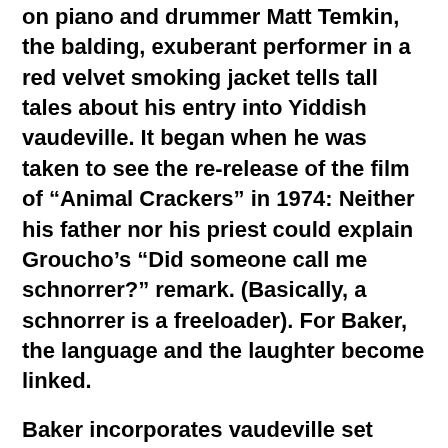on piano and drummer Matt Temkin, the balding, exuberant performer in a red velvet smoking jacket tells tall tales about his entry into Yiddish vaudeville. It began when he was taken to see the re-release of the film of “Animal Crackers” in 1974: Neither his father nor his priest could explain Groucho’s “Did someone call me schnorrer?” remark. (Basically, a schnorrer is a freeloader). For Baker, the language and the laughter become linked.
Baker incorporates vaudeville set pieces throughout. He demonstrates a “haircut act,” one so bad that it’s intended to clear the theater (the name comes from the idea that the performer would only see the backs of the patrons’ heads as they exit), with silly rope tricks and creaky puns. He hypnotizes a rubber chicken. He often